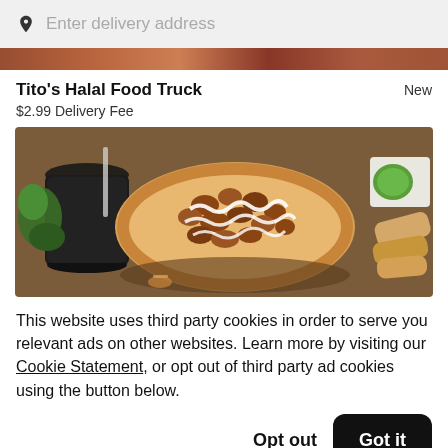Enter delivery address
Tito's Halal Food Truck
$2.99 Delivery Fee
New
[Figure (photo): Food photo showing halal dishes including pizza-style flatbread with toppings, a dark drink, green dipping sauce, and wraps on a wooden table]
This website uses third party cookies in order to serve you relevant ads on other websites. Learn more by visiting our Cookie Statement, or opt out of third party ad cookies using the button below.
Opt out
Got it